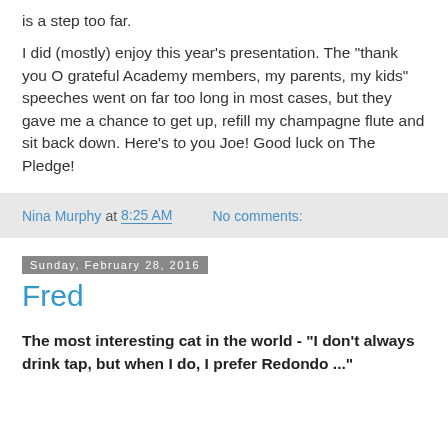is a step too far.
I did (mostly) enjoy this year's presentation.  The "thank you O grateful Academy members, my parents, my kids" speeches went on far too long in most cases, but they gave me a chance to get up, refill my champagne flute and sit back down.  Here's to you Joe!  Good luck on The Pledge!
Nina Murphy at 8:25 AM   No comments:
Sunday, February 28, 2016
Fred
The most interesting cat in the world - "I don't always drink tap, but when I do, I prefer Redondo ..."